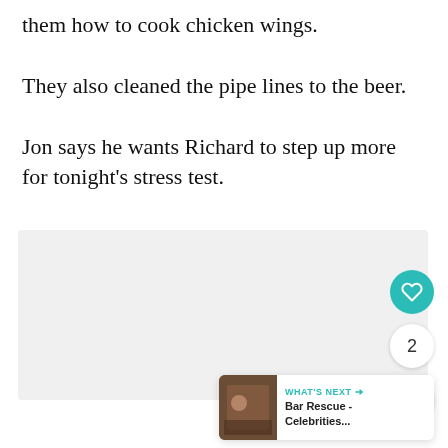them how to cook chicken wings.
They also cleaned the pipe lines to the beer.
Jon says he wants Richard to step up more for tonight's stress test.
[Figure (screenshot): UI overlay with heart/like button (teal, heart icon), count of 2, share button, and 'What's Next' panel showing Bar Rescue - Celebrities...]